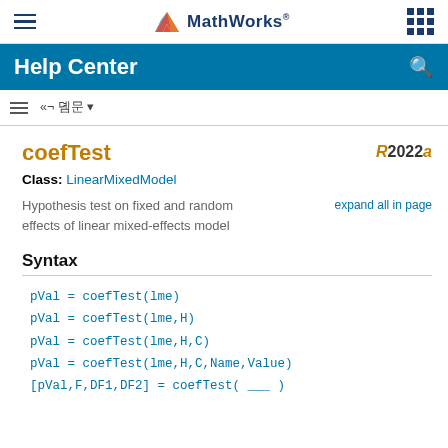MathWorks Help Center
coefTest
Class: LinearMixedModel
Hypothesis test on fixed and random effects of linear mixed-effects model
Syntax
pVal = coefTest(lme)
pVal = coefTest(lme,H)
pVal = coefTest(lme,H,C)
pVal = coefTest(lme,H,C,Name,Value)
[pVal,F,DF1,DF2] = coefTest( ___ )